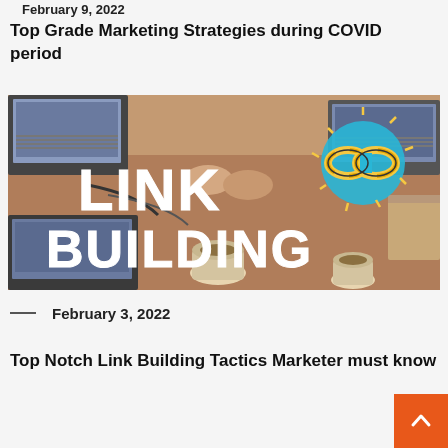February 9, 2022
Top Grade Marketing Strategies during COVID period
[Figure (photo): Overhead view of people working on laptops at a desk with the text 'LINK BUILDING' overlaid in large white letters, along with a chain link emoji-style graphic on a teal background with yellow chain links.]
— February 3, 2022
Top Notch Link Building Tactics Marketer must know